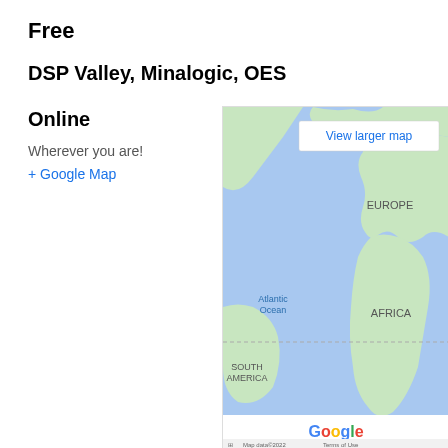Free
DSP Valley, Minalogic, OES
Online
Wherever you are!
+ Google Map
[Figure (map): Google Map showing a world map view with Atlantic Ocean, Europe, Africa, South America labeled. A white tooltip reads 'View larger map'. Google logo and 'Map data©2022 Terms of Use' visible at the bottom.]